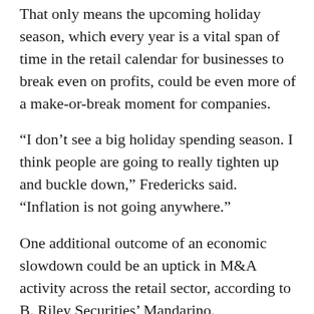That only means the upcoming holiday season, which every year is a vital span of time in the retail calendar for businesses to break even on profits, could be even more of a make-or-break moment for companies.
“I don’t see a big holiday spending season. I think people are going to really tighten up and buckle down,” Fredericks said. “Inflation is not going anywhere.”
One additional outcome of an economic slowdown could be an uptick in M&A activity across the retail sector, according to B. Riley Securities’ Mandarino.
Bigger retailers that are more financially stable